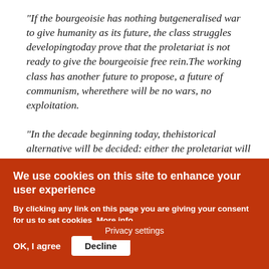“If the bourgeoisie has nothing butgeneralised war to give humanity as its future, the class struggles developingtoday prove that the proletariat is not ready to give the bourgeoisie free rein.The working class has another future to propose, a future of communism, wherethere will be no wars, no exploitation.

“In the decade beginning today, thehistorical alternative will be decided: either the proletariat will continueits of… [obscured] …ue to paralyse the… [obscured]
Privacy settings
We use cookies on this site to enhance your user experience
By clicking any link on this page you are giving your consent for us to set cookies. More info
OK, I agree
Decline